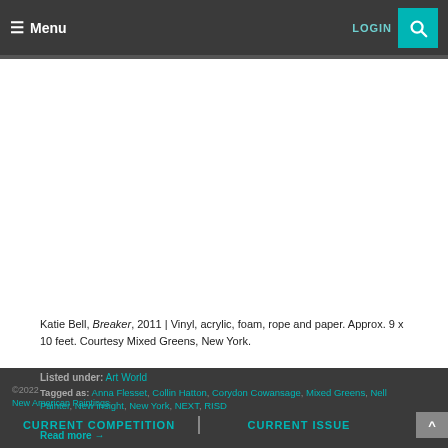≡ Menu  LOGIN 🔍
[Figure (photo): White empty area representing a artwork image placeholder (Katie Bell, Breaker, 2011)]
Katie Bell, Breaker, 2011 | Vinyl, acrylic, foam, rope and paper. Approx. 9 x 10 feet. Courtesy Mixed Greens, New York.
Listed under: Art World
Tagged as: Anna Flesset, Collin Hatton, Corydon Cowansage, ... Mixed Greens, Nell Painter, New insight, New York, NEXT, RISD
CURRENT COMPETITION | CURRENT ISSUE
Read more →
© 2022 New American Paintings